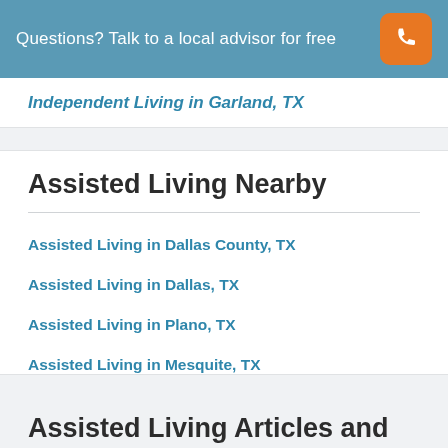Questions? Talk to a local advisor for free
Independent Living in Garland, TX
Assisted Living Nearby
Assisted Living in Dallas County, TX
Assisted Living in Dallas, TX
Assisted Living in Plano, TX
Assisted Living in Mesquite, TX
Assisted Living in Mckinney, TX
Assisted Living Articles and